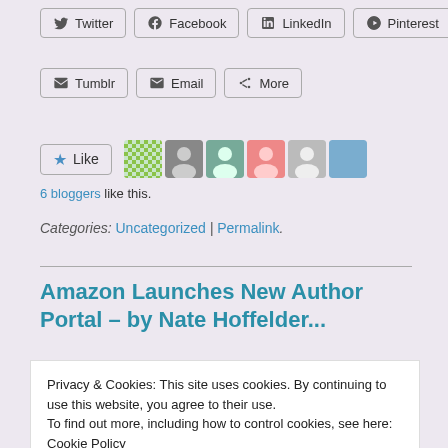Twitter | Facebook | LinkedIn | Pinterest
Tumblr | Email | More
[Figure (other): Like button with star icon and 6 blogger avatar thumbnails]
6 bloggers like this.
Categories: Uncategorized | Permalink.
Amazon Launches New Author Portal – by Nate Hoffelder...
Privacy & Cookies: This site uses cookies. By continuing to use this website, you agree to their use.
To find out more, including how to control cookies, see here: Cookie Policy
Close and accept